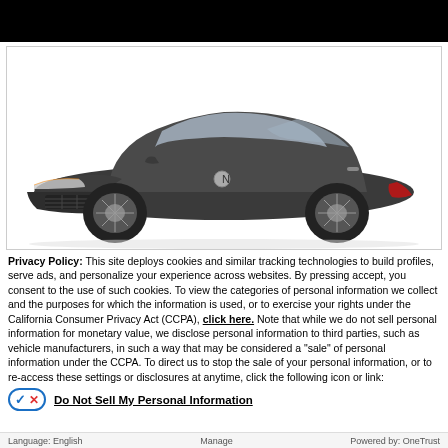[Figure (photo): Dark gray Nissan Altima sedan photographed from a front three-quarter angle against a white background, inside a bordered image frame.]
Privacy Policy: This site deploys cookies and similar tracking technologies to build profiles, serve ads, and personalize your experience across websites. By pressing accept, you consent to the use of such cookies. To view the categories of personal information we collect and the purposes for which the information is used, or to exercise your rights under the California Consumer Privacy Act (CCPA), click here. Note that while we do not sell personal information for monetary value, we disclose personal information to third parties, such as vehicle manufacturers, in such a way that may be considered a "sale" of personal information under the CCPA. To direct us to stop the sale of your personal information, or to re-access these settings or disclosures at anytime, click the following icon or link:
Do Not Sell My Personal Information
Language: English                                    Manage                                    Powered by: OneTrust